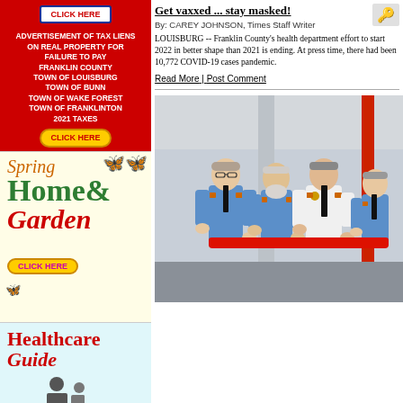[Figure (other): Advertisement: Click Here button at top]
[Figure (infographic): Red advertisement for Advertisement of Tax Liens on Real Property for Failure to Pay Franklin County Town of Louisburg Town of Bunn Town of Wake Forest Town of Franklinton 2021 Taxes with CLICK HERE button]
[Figure (infographic): Spring Home & Garden advertisement with butterfly illustrations and CLICK HERE button on light yellow background]
[Figure (infographic): Healthcare Guide advertisement on light blue background with silhouette figures]
Get vaxxed ... stay masked!
By: CAREY JOHNSON, Times Staff Writer
LOUISBURG -- Franklin County's health department effort to start 2022 in better shape than 2021 is ending. At press time, there had been 10,772 COVID-19 cases pandemic.
Read More | Post Comment
[Figure (photo): Four men in blue and white fire department uniforms holding a red ribbon or bar, appearing to participate in a ribbon cutting ceremony inside a fire station]